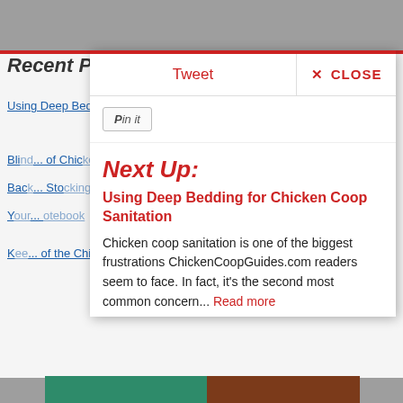Recent Posts
Tweet
✕ CLOSE
Pin it
Using Deep Bedding for Chicken Coop Sanitation
Next Up:
Using Deep Bedding for Chicken Coop Sanitation
Chicken coop sanitation is one of the biggest frustrations ChickenCoopGuides.com readers seem to face. In fact, it's the second most common concern... Read more